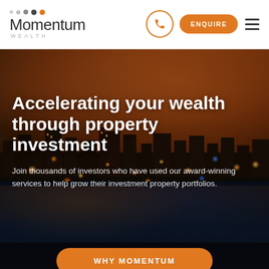[Figure (logo): Momentum Wealth logo with colored dots and wordmark]
[Figure (photo): Aerial night/sunset cityscape of Perth Australia with river and city lights, used as hero background image]
Accelerating your wealth through property investment
Join thousands of investors who have used our award-winning services to help grow their investment property portfolios.
WHY MOMENTUM